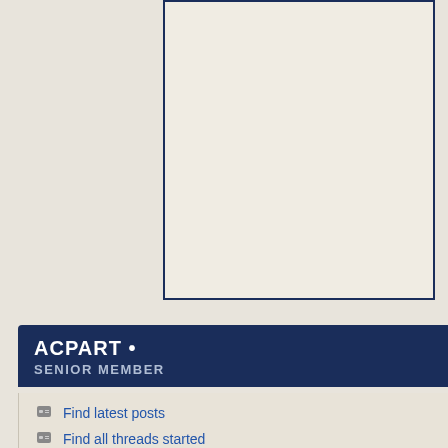[Figure (screenshot): Top bordered box area, partial view of a web profile page]
ACPART • SENIOR MEMBER
Find latest posts
Find all threads started
Find latest started threads
View Articles
| Field | Value |
| --- | --- |
| Join Date: | 11-29-2007 |
| Last Activity: | Today 01:05 AM |
48 FRIENDS MORE
[Figure (photo): Three friend avatar thumbnails]
acpart's Activity
Thread Tags Quotes All acpart Friends
Elizabeth Fre... Geckos | Mor... Hi ~ Welcome to ... generally aren't s... see more
2 replies | 92 view(s)
acpart replied... Morphs & Ge...